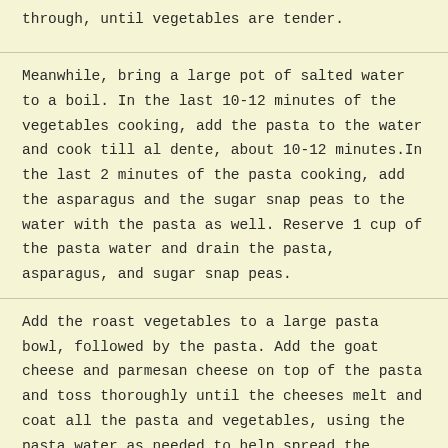through, until vegetables are tender.
Meanwhile, bring a large pot of salted water to a boil. In the last 10-12 minutes of the vegetables cooking, add the pasta to the water and cook till al dente, about 10-12 minutes.In the last 2 minutes of the pasta cooking, add the asparagus and the sugar snap peas to the water with the pasta as well. Reserve 1 cup of the pasta water and drain the pasta, asparagus, and sugar snap peas.
Add the roast vegetables to a large pasta bowl, followed by the pasta. Add the goat cheese and parmesan cheese on top of the pasta and toss thoroughly until the cheeses melt and coat all the pasta and vegetables, using the pasta water as needed to help spread the cheese out. Toss in the basil.
Serve into individual pasta bowls and sprinkle with additional